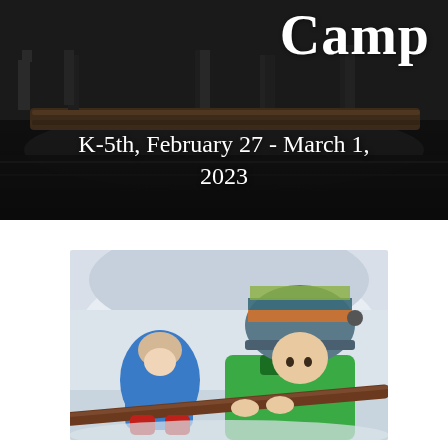[Figure (photo): Children standing on a log over water, dark outdoor nature scene with wet rocky ground]
Camp
K-5th, February 27 - March 1, 2023
[Figure (photo): Two children playing in snow inside a snow fort/igloo, one wearing a colorful hat and green jacket holding a large stick/branch, another in blue jacket in background]